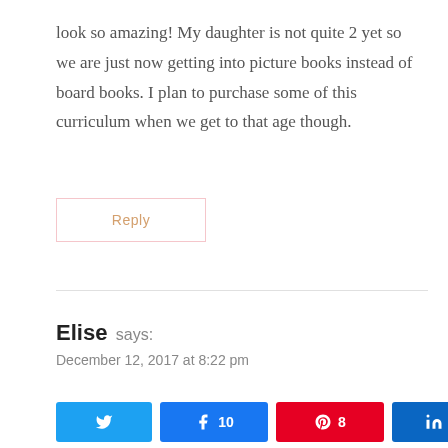look so amazing! My daughter is not quite 2 yet so we are just now getting into picture books instead of board books. I plan to purchase some of this curriculum when we get to that age though.
Reply
Elise says:
December 12, 2017 at 8:22 pm
We're in our first year of homeschooling. We've been using the Flar curriculum which also puts emphasis on